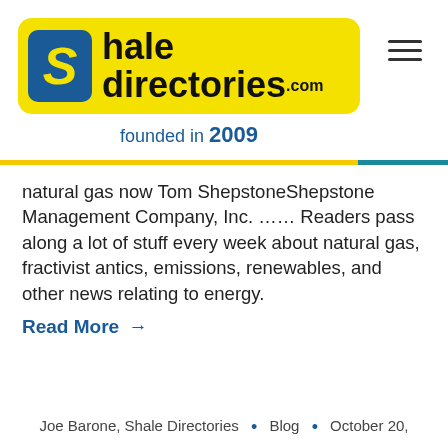[Figure (logo): Shale Directories .com logo on yellow rounded rectangle background with blue S icon, founded in 2009 subtitle]
natural gas now Tom ShepstoneShepstone Management Company, Inc. ...... Readers pass along a lot of stuff every week about natural gas, fractivist antics, emissions, renewables, and other news relating to energy.
Read More →
Joe Barone, Shale Directories • Blog • October 20,